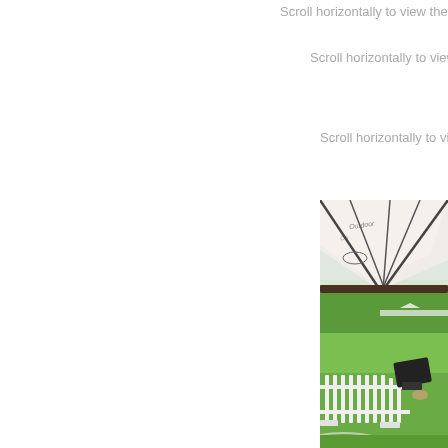Scroll horizontally to view the whole table
Scroll horizontally to view the whole ta
Scroll horizontally to view the whole
[Figure (photo): Outdoor polo or sports field scene showing white picket fence/barrier in foreground, black reclining chairs, green grass field with trees in background, and a large white branded marquee umbrella/tent canopy overhead. Partial text visible on canopy.]